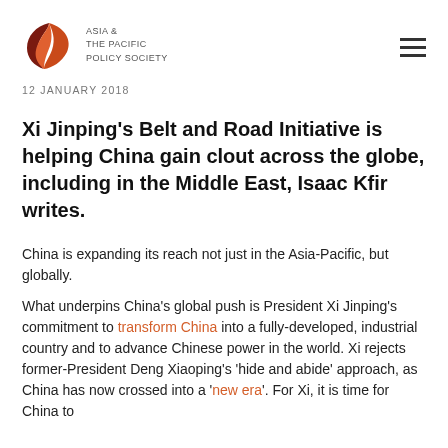ASIA & THE PACIFIC POLICY SOCIETY
12 JANUARY 2018
Xi Jinping's Belt and Road Initiative is helping China gain clout across the globe, including in the Middle East, Isaac Kfir writes.
China is expanding its reach not just in the Asia-Pacific, but globally.
What underpins China's global push is President Xi Jinping's commitment to transform China into a fully-developed, industrial country and to advance Chinese power in the world. Xi rejects former-President Deng Xiaoping's 'hide and abide' approach, as China has now crossed into a 'new era'. For Xi, it is time for China to